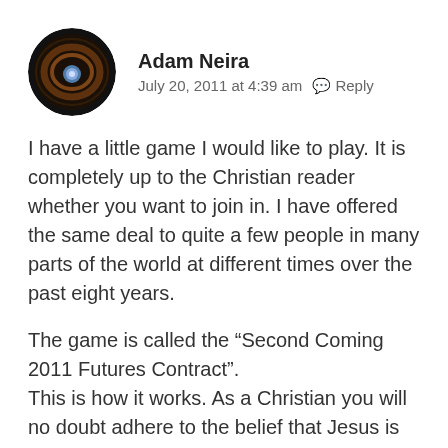Adam Neira
July 20, 2011 at 4:39 am  Reply
I have a little game I would like to play. It is completely up to the Christian reader whether you want to join in. I have offered the same deal to quite a few people in many parts of the world at different times over the past eight years.
The game is called the “Second Coming 2011 Futures Contract”.
This is how it works. As a Christian you will no doubt adhere to the belief that Jesus is